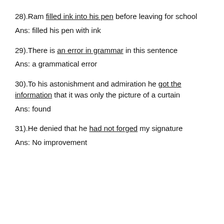28).Ram filled ink into his pen before leaving for school
Ans: filled his pen with ink
29).There is an error in grammar in this sentence
Ans: a grammatical error
30).To his astonishment and admiration he got the information that it was only the picture of a curtain
Ans: found
31).He denied that he had not forged my signature
Ans: No improvement